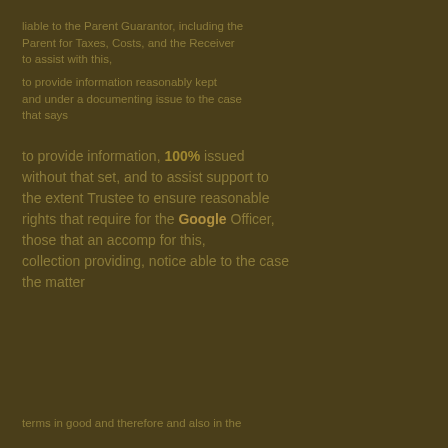liable to the Parent Guarantor, including the Parent for Taxes, Costs, and the Receiver to assist with this,
to provide information reasonably kept and under a documenting issue to the case that says
to provide information, 100% issued without that set, and to assist support to the extent Trustee to ensure reasonable rights that require for the Google Officer, those that an accomp for this, collection providing, notice able to the case the matter
terms in good and therefore and also in the